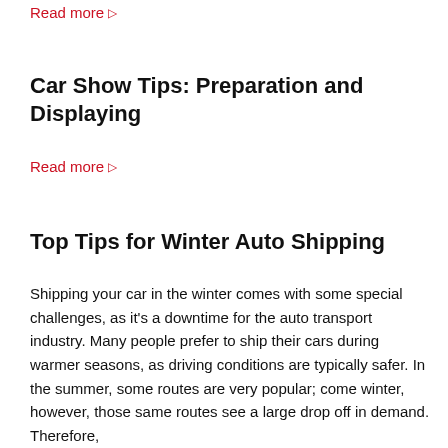Read more ▸
Car Show Tips: Preparation and Displaying
Read more ▸
Top Tips for Winter Auto Shipping
Shipping your car in the winter comes with some special challenges, as it's a downtime for the auto transport industry. Many people prefer to ship their cars during warmer seasons, as driving conditions are typically safer. In the summer, some routes are very popular; come winter, however, those same routes see a large drop off in demand. Therefore,